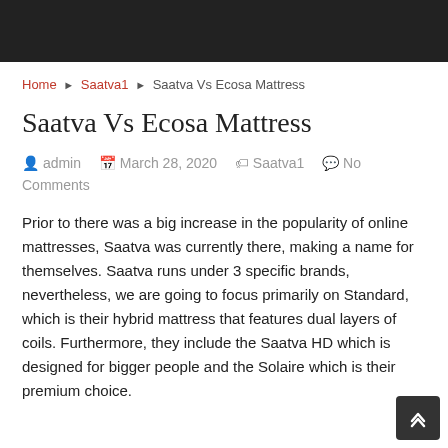Home ▶ Saatva1 ▶ Saatva Vs Ecosa Mattress
Saatva Vs Ecosa Mattress
admin   March 28, 2020   Saatva1   No Comments
Prior to there was a big increase in the popularity of online mattresses, Saatva was currently there, making a name for themselves. Saatva runs under 3 specific brands, nevertheless, we are going to focus primarily on Standard, which is their hybrid mattress that features dual layers of coils. Furthermore, they include the Saatva HD which is designed for bigger people and the Solaire which is their premium choice.